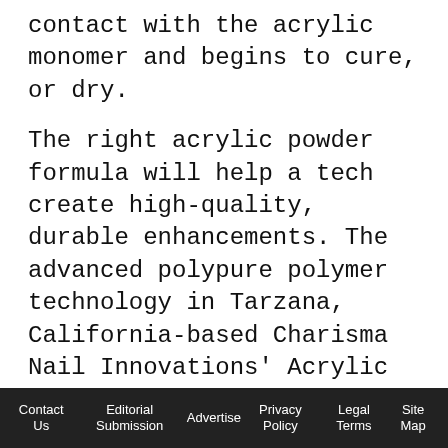contact with the acrylic monomer and begins to cure, or dry.
The right acrylic powder formula will help a tech create high-quality, durable enhancements. The advanced polypure polymer technology in Tarzana, California-based Charisma Nail Innovations' Acrylic Powders, for example, allows for the following characteristics: product that better fuses onto nails, virtually eliminating air bubbles; no crystallization; softer product that reduces filing time, has more flexibility and prevents breakage; drier application, resulting in maximum control, workability and minimal use of monomer; and a
Contact Us | Editorial Submission | Advertise | Privacy Policy | Legal Terms | Site Map